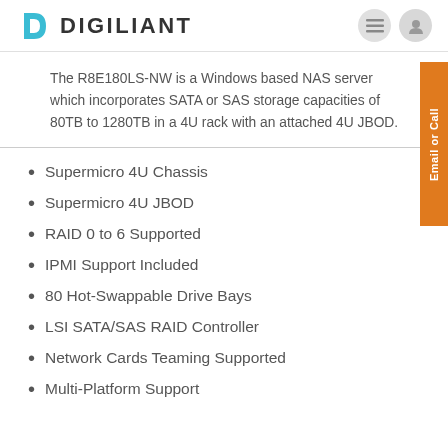DIGILIANT
The R8E180LS-NW is a Windows based NAS server which incorporates SATA or SAS storage capacities of 80TB to 1280TB in a 4U rack with an attached 4U JBOD.
Supermicro 4U Chassis
Supermicro 4U JBOD
RAID 0 to 6 Supported
IPMI Support Included
80 Hot-Swappable Drive Bays
LSI SATA/SAS RAID Controller
Network Cards Teaming Supported
Multi-Platform Support